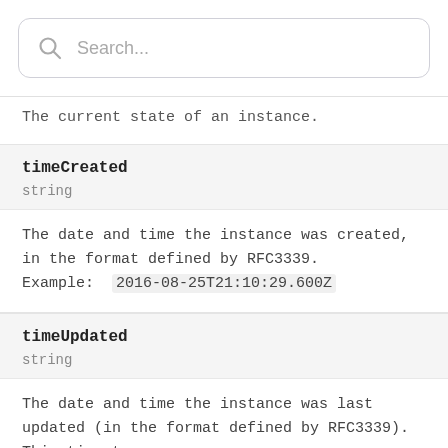[Figure (other): Search bar with magnifying glass icon and 'Search...' placeholder text]
The current state of an instance.
timeCreated
string
The date and time the instance was created, in the format defined by RFC3339. Example: 2016-08-25T21:10:29.600Z
timeUpdated
string
The date and time the instance was last updated (in the format defined by RFC3339). This timestamp